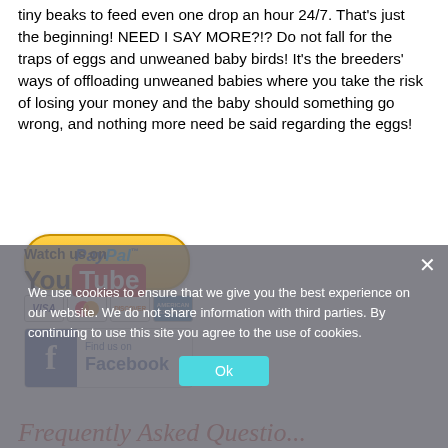tiny beaks to feed even one drop an hour 24/7. That's just the beginning! NEED I SAY MORE?!? Do not fall for the traps of eggs and unweaned baby birds! It's the breeders' ways of offloading unweaned babies where you take the risk of losing your money and the baby should something go wrong, and nothing more need be said regarding the eggs!
[Figure (logo): PayPal Donate Now button with credit card icons (Visa, MasterCard, Discover, American Express)]
[Figure (logo): Find us on Facebook button]
[Figure (logo): Watch us on YouTube logo]
We use cookies to ensure that we give you the best experience on our website. We do not share information with third parties. By continuing to use this site you agree to the use of cookies.
Ok
Frequently Asked Questions